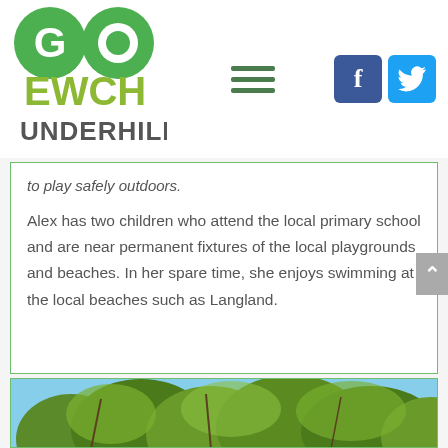[Figure (logo): GO EWCH UNDERHILL logo — GO in green circles, EWCH in olive/yellow-green, UNDERHILL in dark gray]
[Figure (infographic): Hamburger menu icon (three green horizontal lines)]
[Figure (infographic): Facebook icon (dark blue square with white f) and Twitter icon (light blue square with white bird)]
to play safely outdoors.
Alex has two children who attend the local primary school and are near permanent fixtures of the local playgrounds and beaches. In her spare time, she enjoys swimming at the local beaches such as Langland.
[Figure (photo): Photo of tree foliage with green leaves against a blue sky]